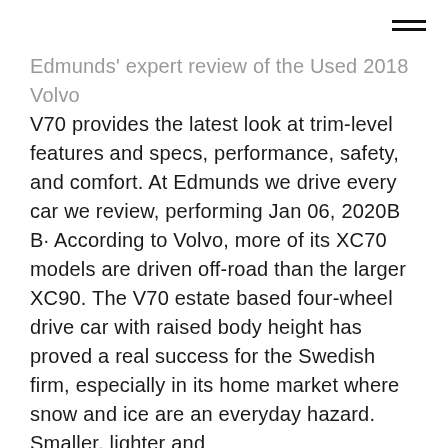☰
Edmunds' expert review of the Used 2018 Volvo V70 provides the latest look at trim-level features and specs, performance, safety, and comfort. At Edmunds we drive every car we review, performing Jan 06, 2020B B· According to Volvo, more of its XC70 models are driven off-road than the larger XC90. The V70 estate based four-wheel drive car with raised body height has proved a real success for the Swedish firm, especially in its home market where snow and ice are an everyday hazard. Smaller, lighter and
5 out of 5 stars. Volvo V70RRRRRRRRRRRRRRRRRR. by MilleMiglia